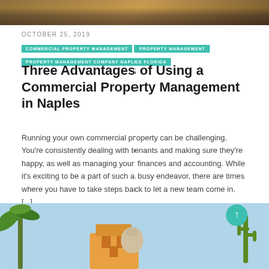[Figure (photo): Top banner photo of a city skyline or waterfront at dusk with warm amber/orange tones]
OCTOBER 25, 2019
COMMERCIAL PROPERTY MANAGEMENT | PROPERTY MANAGEMENT | PROPERTY MANAGEMENT COMPANY NAPLES FLORIDA
Three Advantages of Using a Commercial Property Management in Naples
Running your own commercial property can be challenging. You’re consistently dealing with tenants and making sure they’re happy, as well as managing your finances and accounting. While it’s exciting to be a part of such a busy endeavor, there are times where you have to take steps back to let a new team come in. [...]
[Figure (photo): Bottom photo showing a tropical/resort scene with palm trees on the left, a colorful building in the center, a cactus on the right, against a light blue sky background. A teal scroll-to-top button overlays the image.]